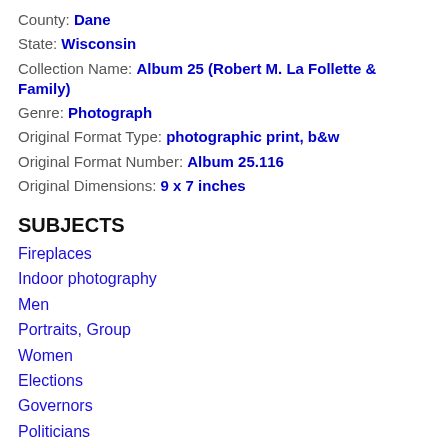County: Dane
State: Wisconsin
Collection Name: Album 25 (Robert M. La Follette & Family)
Genre: Photograph
Original Format Type: photographic print, b&w
Original Format Number: Album 25.116
Original Dimensions: 9 x 7 inches
SUBJECTS
Fireplaces
Indoor photography
Men
Portraits, Group
Women
Elections
Governors
Politicians